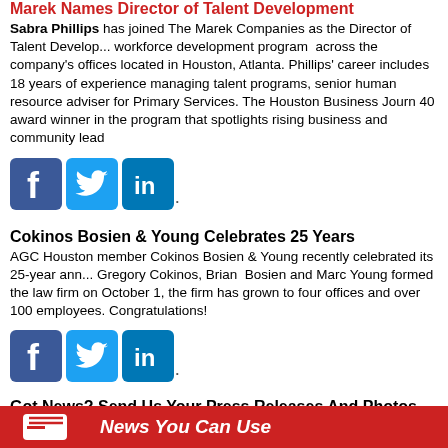Marek Names Director of Talent Development
Sabra Phillips has joined The Marek Companies as the Director of Talent Development, to lead a workforce development program across the company's offices located in Houston, San Antonio, and Atlanta. Phillips' career includes 18 years of experience managing talent programs, and served as a senior human resource adviser for Primary Services. The Houston Business Journal named her a 40 under 40 award winner in the program that spotlights rising business and community leaders.
[Figure (logo): Facebook, Twitter, LinkedIn social media icons]
Cokinos Bosien & Young Celebrates 25 Years
AGC Houston member Cokinos Bosien & Young recently celebrated its 25-year anniversary. Gregory Cokinos, Brian Bosien and Marc Young formed the law firm on October 1, the firm has grown to four offices and over 100 employees. Congratulations!
[Figure (logo): Facebook, Twitter, LinkedIn social media icons]
Got News? Send Us Your Press Releases And Photos
Contact Catherine Bezman or Jaclyn Lee with your information and photos.
[Figure (logo): Facebook, Twitter, LinkedIn social media icons]
News You Can Use